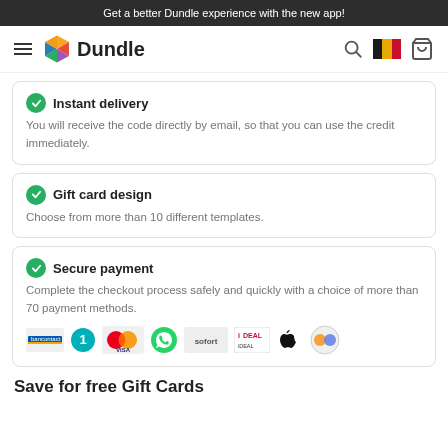Get a better Dundle experience with the new app!
[Figure (logo): Dundle logo with navigation bar including hamburger menu, colorful hexagon logo, Dundle wordmark, search icon, Belgian flag, and shopping cart icon]
Instant delivery
You will receive the code directly by email, so that you can use the credit immediately.
Gift card design
Choose from more than 10 different templates.
Secure payment
Complete the checkout process safely and quickly with a choice of more than 70 payment methods.
[Figure (infographic): Payment method icons: Bancontact, option 1 teal circle, Mastercard/Visa, WhatsApp green, Sofort, iDEAL, Apple, Crypto]
Save for free Gift Cards